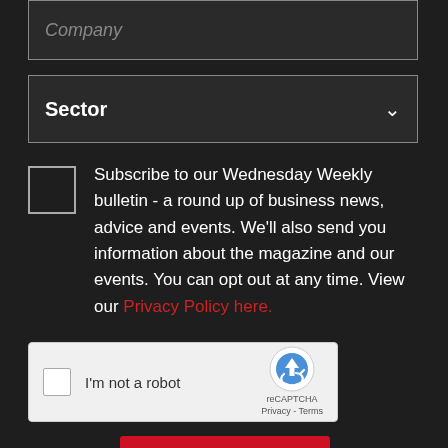Company (placeholder input field)
Sector (dropdown selector)
Subscribe to our Wednesday Weekly bulletin - a round up of business news, advice and events. We'll also send you information about the magazine and our events. You can opt out at any time. View our Privacy Policy here.
[Figure (screenshot): reCAPTCHA widget with 'I'm not a robot' checkbox, reCAPTCHA logo, Privacy and Terms links]
[Figure (other): Red submit button at bottom]